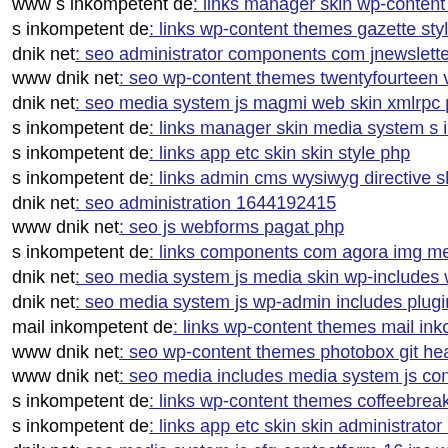www s inkompetent de: links manager skin wp-content pl...
s inkompetent de: links wp-content themes gazette style cs...
dnik net: seo administrator components com jnewsletter in...
www dnik net: seo wp-content themes twentyfourteen vers...
dnik net: seo media system js magmi web skin xmlrpc php...
s inkompetent de: links manager skin media system s inko...
s inkompetent de: links app etc skin skin style php
s inkompetent de: links admin cms wysiwyg directive skin...
dnik net: seo administration 1644192415
www dnik net: seo js webforms pagat php
s inkompetent de: links components com agora img memb...
dnik net: seo media system js media skin wp-includes wp-...
dnik net: seo media system js wp-admin includes plugins c...
mail inkompetent de: links wp-content themes mail inkom...
www dnik net: seo wp-content themes photobox git head
www dnik net: seo media includes media system js compo...
s inkompetent de: links wp-content themes coffeebreak ski...
s inkompetent de: links app etc skin skin administrator con...
dnik net: seo media system js cfg-contactform-16 inc wp-l...
dnik net: seo media system js lib pkp lib tinymce jscripts ti...
s inkompetent de: links manager components com foxcont...